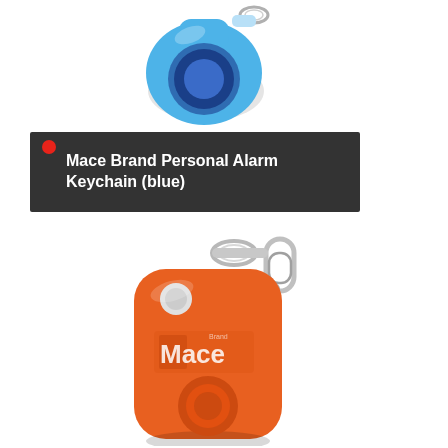[Figure (photo): Blue Mace Brand Personal Alarm Keychain with metal carabiner clip, round blue body with circular speaker grille]
Mace Brand Personal Alarm Keychain (blue)
[Figure (photo): Orange Mace Brand Personal Alarm Keychain with silver metal carabiner clip, rectangular orange body with Mace logo, button, and circular speaker]